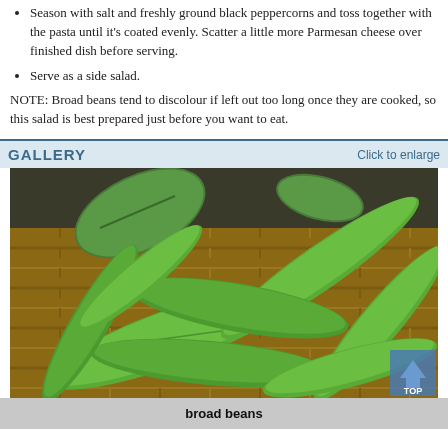Season with salt and freshly ground black peppercorns and toss together with the pasta until it's coated evenly. Scatter a little more Parmesan cheese over finished dish before serving.
Serve as a side salad.
NOTE: Broad beans tend to discolour if left out too long once they are cooked, so this salad is best prepared just before you want to eat.
GALLERY
Click to enlarge
[Figure (photo): Photo of broad beans (fava bean pods) in a wicker basket, with green leaves visible at the top.]
broad beans